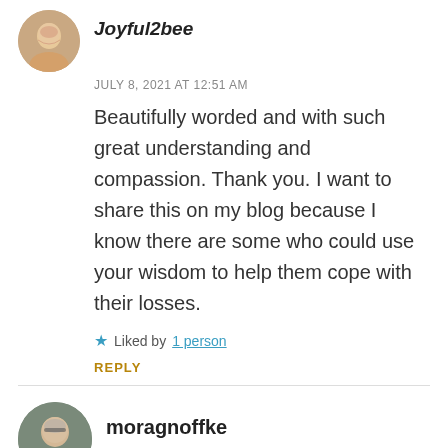[Figure (photo): Round avatar photo of a woman with short hair, smiling]
Joyful2bee
JULY 8, 2021 AT 12:51 AM
Beautifully worded and with such great understanding and compassion. Thank you. I want to share this on my blog because I know there are some who could use your wisdom to help them cope with their losses.
★ Liked by 1 person
REPLY
[Figure (photo): Round avatar photo of a woman with glasses and short grey hair]
moragnoffke
JULY 8, 2021 AT 5:43 AM